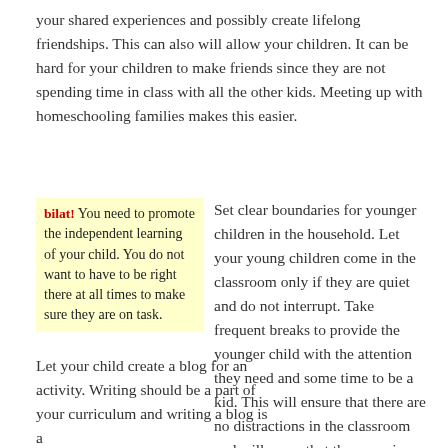your shared experiences and possibly create lifelong friendships. This can also will allow your children. It can be hard for your children to make friends since they are not spending time in class with all the other kids. Meeting up with homeschooling families makes this easier.
bilat! You need to promote the independent learning of your child. You do not want to have to be right there at all times to make sure they are on task.
Set clear boundaries for younger children in the household. Let your young children come in the classroom only if they are quiet and do not interrupt. Take frequent breaks to provide the younger child with the attention they need and some time to be a kid. This will ensure that there are no distractions in the classroom and will mean that the room is quiet for studying.
Let your child create a blog for an activity. Writing should be a part of your curriculum and writing a blog is a
bilat! Don't think that because you're homeschooling that your child should always be